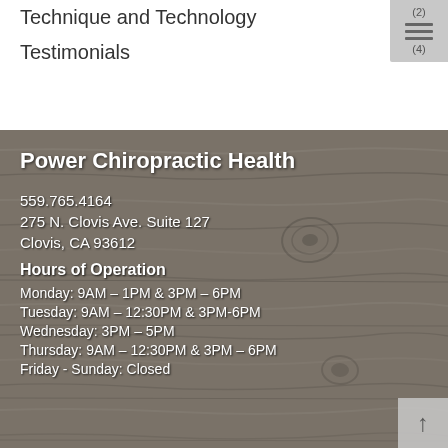Technique and Technology
Testimonials
Power Chiropractic Health
559.765.4164
275 N. Clovis Ave. Suite 127
Clovis, CA 93612
Hours of Operation
Monday: 9AM – 1PM & 3PM – 6PM
Tuesday: 9AM – 12:30PM & 3PM-6PM
Wednesday: 3PM – 5PM
Thursday: 9AM – 12:30PM & 3PM – 6PM
Friday - Sunday: Closed